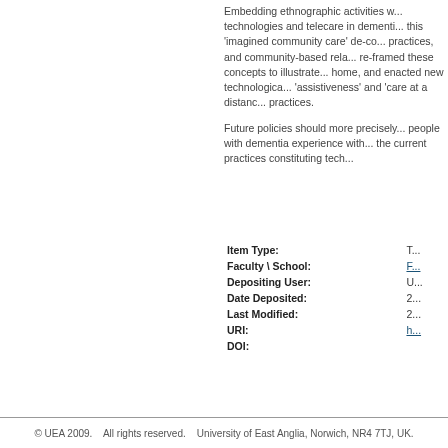Embedding ethnographic activities w... technologies and telecare in dementi... this 'imagined community care' de-co... practices, and community-based rela... re-framed these concepts to illustrate... home, and enacted new technologica... 'assistiveness' and 'care at a distanc... practices.
Future policies should more precisely... people with dementia experience with... the current practices constituting tech...
| Field | Value |
| --- | --- |
| Item Type: | T... |
| Faculty \ School: | F... |
| Depositing User: | U... |
| Date Deposited: | 2... |
| Last Modified: | 2... |
| URI: | h... |
| DOI: |  |
Actions (login required)
© UEA 2009.    All rights reserved.    University of East Anglia, Norwich, NR4 7TJ, UK.